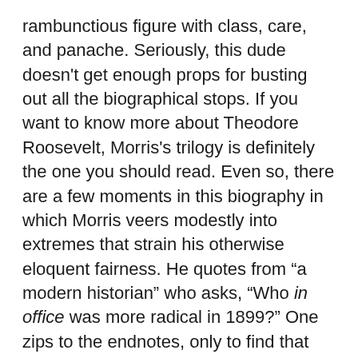rambunctious figure with class, care, and panache. Seriously, this dude doesn't get enough props for busting out all the biographical stops. If you want to know more about Theodore Roosevelt, Morris's trilogy is definitely the one you should read. Even so, there are a few moments in this biography in which Morris veers modestly into extremes that strain his otherwise eloquent fairness. He quotes from “a modern historian” who asks, “Who in office was more radical in 1899?” One zips to the endnotes, only to find that the “historian” in question was none other than the partisan John Allen Gable, who was once considered to be the foremost authority on Teddy Roosevelt. Morris also observes that “ninety-nine percent of the millions of words he thus poured out are sterile, banal, and so droningly repetitive as to defeat the most dedicated researcher,” and while one